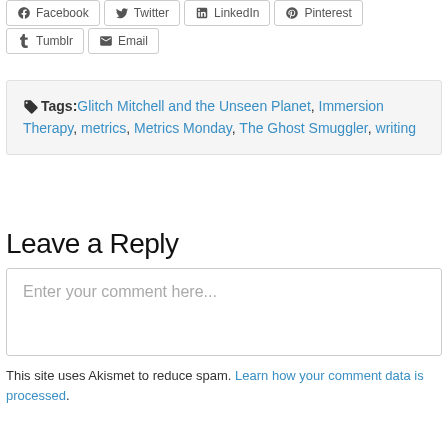Facebook  Twitter  LinkedIn  Pinterest
Tumblr  Email
Tags: Glitch Mitchell and the Unseen Planet, Immersion Therapy, metrics, Metrics Monday, The Ghost Smuggler, writing
Leave a Reply
Enter your comment here...
This site uses Akismet to reduce spam. Learn how your comment data is processed.